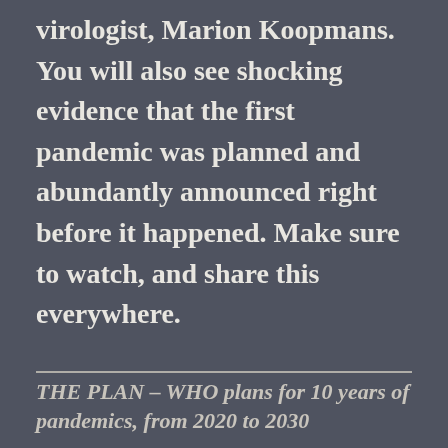virologist, Marion Koopmans. You will also see shocking evidence that the first pandemic was planned and abundantly announced right before it happened. Make sure to watch, and share this everywhere.
THE PLAN – WHO plans for 10 years of pandemics, from 2020 to 2030
More information, and to see all the documents in THE PLAN, go